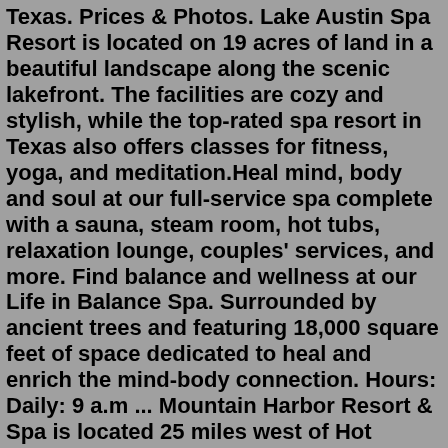Texas. Prices & Photos. Lake Austin Spa Resort is located on 19 acres of land in a beautiful landscape along the scenic lakefront. The facilities are cozy and stylish, while the top-rated spa resort in Texas also offers classes for fitness, yoga, and meditation.Heal mind, body and soul at our full-service spa complete with a sauna, steam room, hot tubs, relaxation lounge, couples' services, and more. Find balance and wellness at our Life in Balance Spa. Surrounded by ancient trees and featuring 18,000 square feet of space dedicated to heal and enrich the mind-body connection. Hours: Daily: 9 a.m ... Mountain Harbor Resort & Spa is located 25 miles west of Hot Springs, AR on beautiful wilderness Lake Ouachita. ... Property Map ; 870-867-2191; Facebook; Twitter; Pinterest; Toll-Free: 800-832-2276. Back to Map. Main Office Check-in/Check-out. Hours 7-8:30 pm *hours are seasonal. Address994 Mountain Harbor Rd, Mt Ida, AR 71957. 870-867-2191 ...Our unique spa resorts honor sacred springs while providing gracious hospitality. Bask in the restful, revitalizing